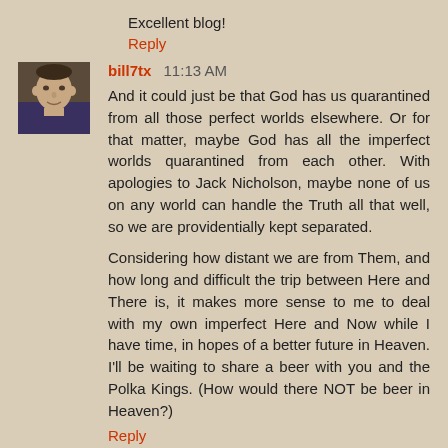Excellent blog!
Reply
[Figure (photo): Small avatar photo of a man (bill7tx)]
bill7tx  11:13 AM
And it could just be that God has us quarantined from all those perfect worlds elsewhere. Or for that matter, maybe God has all the imperfect worlds quarantined from each other. With apologies to Jack Nicholson, maybe none of us on any world can handle the Truth all that well, so we are providentially kept separated.

Considering how distant we are from Them, and how long and difficult the trip between Here and There is, it makes more sense to me to deal with my own imperfect Here and Now while I have time, in hopes of a better future in Heaven. I'll be waiting to share a beer with you and the Polka Kings. (How would there NOT be beer in Heaven?)
Reply